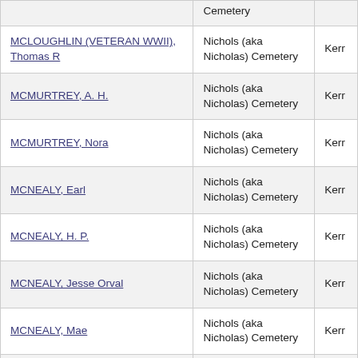| Name | Cemetery | County |
| --- | --- | --- |
| [partial top row] | Cemetery |  |
| MCLOUGHLIN (VETERAN WWII), Thomas R | Nichols (aka Nicholas) Cemetery | Kerr |
| MCMURTREY, A. H. | Nichols (aka Nicholas) Cemetery | Kerr |
| MCMURTREY, Nora | Nichols (aka Nicholas) Cemetery | Kerr |
| MCNEALY, Earl | Nichols (aka Nicholas) Cemetery | Kerr |
| MCNEALY, H. P. | Nichols (aka Nicholas) Cemetery | Kerr |
| MCNEALY, Jesse Orval | Nichols (aka Nicholas) Cemetery | Kerr |
| MCNEALY, Mae | Nichols (aka Nicholas) Cemetery | Kerr |
| MCNEALY, Mary Elizabeth | Nichols (aka Nicholas) Cemetery | Kerr |
| [partial bottom row] | Nichols (aka Nicholas) |  |